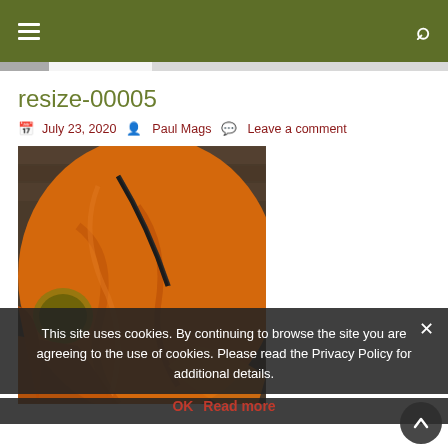Navigation header with hamburger menu and search icon on olive green background
resize-00005
July 23, 2020  Paul Mags  Leave a comment
[Figure (photo): Close-up photo of orange fabric/jacket material on a wooden surface, with a small badge visible on the left side]
This site uses cookies. By continuing to browse the site you are agreeing to the use of cookies. Please read the Privacy Policy for additional details.
OK  Read more